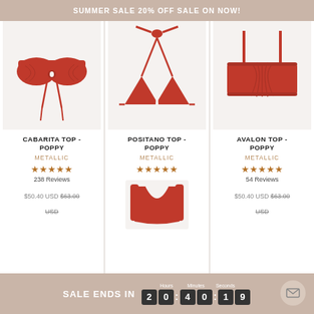SUMMER SALE 20% OFF SALE ON NOW!
[Figure (photo): Red Cabarita bandeau bikini top with tie front detail on light grey background]
CABARITA TOP - POPPY
METALLIC
★★★★★
238 Reviews
$50.40 USD $63.00 USD
[Figure (photo): Red Positano halterneck triangle bikini top on light grey background]
POSITANO TOP - POPPY
METALLIC
★★★★★
[Figure (photo): Red Positano bikini bottom with cutout on light grey background]
[Figure (photo): Red Avalon ruched bandeau bikini top with straps on light grey background]
AVALON TOP - POPPY
METALLIC
★★★★½
54 Reviews
$50.40 USD $63.00 USD
SALE ENDS IN 20:40:19